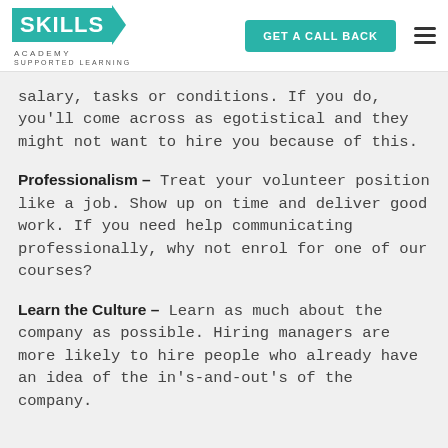[Figure (logo): Skills Academy – Supported Learning logo with teal background and call-back button]
salary, tasks or conditions. If you do, you'll come across as egotistical and they might not want to hire you because of this.
Professionalism – Treat your volunteer position like a job. Show up on time and deliver good work. If you need help communicating professionally, why not enrol for one of our courses?
Learn the Culture – Learn as much about the company as possible. Hiring managers are more likely to hire people who already have an idea of the in's-and-out's of the company.